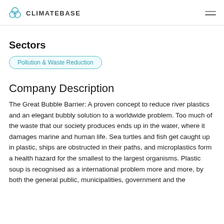CLIMATEBASE
Sectors
Pollution & Waste Reduction
Company Description
The Great Bubble Barrier: A proven concept to reduce river plastics and an elegant bubbly solution to a worldwide problem. Too much of the waste that our society produces ends up in the water, where it damages marine and human life. Sea turtles and fish get caught up in plastic, ships are obstructed in their paths, and microplastics form a health hazard for the smallest to the largest organisms. Plastic soup is recognised as a international problem more and more, by both the general public, municipalities, government and the